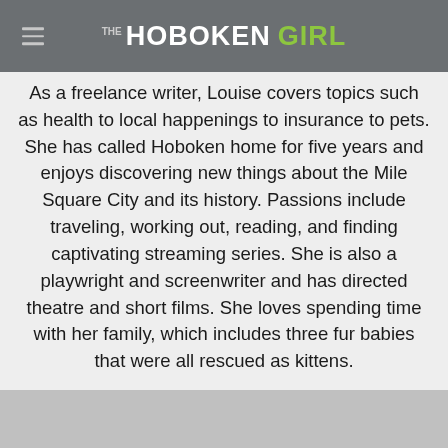THE HOBOKEN GIRL
As a freelance writer, Louise covers topics such as health to local happenings to insurance to pets. She has called Hoboken home for five years and enjoys discovering new things about the Mile Square City and its history. Passions include traveling, working out, reading, and finding captivating streaming series. She is also a playwright and screenwriter and has directed theatre and short films. She loves spending time with her family, which includes three fur babies that were all rescued as kittens.